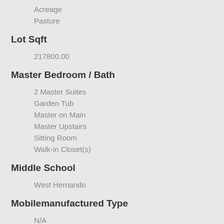Acreage
Pasture
Lot Sqft
217800.00
Master Bedroom / Bath
2 Master Suites
Garden Tub
Master on Main
Master Upstairs
Sitting Room
Walk-in Closet(s)
Middle School
West Hernando
Mobilemanufactured Type
N/A